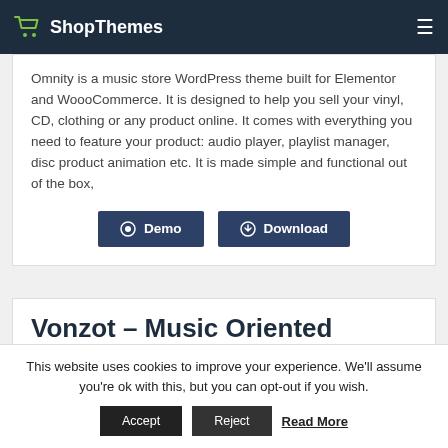ShopThemes
Omnity is a music store WordPress theme built for Elementor and WoooCommerce. It is designed to help you sell your vinyl, CD, clothing or any product online. It comes with everything you need to feature your product: audio player, playlist manager, disc product animation etc. It is made simple and functional out of the box,
Demo
Download
Vonzot – Music Oriented
This website uses cookies to improve your experience. We'll assume you're ok with this, but you can opt-out if you wish.
Accept
Reject
Read More